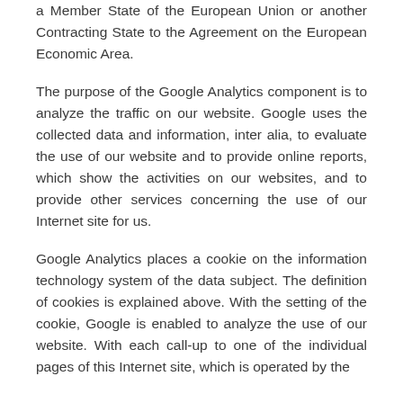a Member State of the European Union or another Contracting State to the Agreement on the European Economic Area.
The purpose of the Google Analytics component is to analyze the traffic on our website. Google uses the collected data and information, inter alia, to evaluate the use of our website and to provide online reports, which show the activities on our websites, and to provide other services concerning the use of our Internet site for us.
Google Analytics places a cookie on the information technology system of the data subject. The definition of cookies is explained above. With the setting of the cookie, Google is enabled to analyze the use of our website. With each call-up to one of the individual pages of this Internet site, which is operated by the